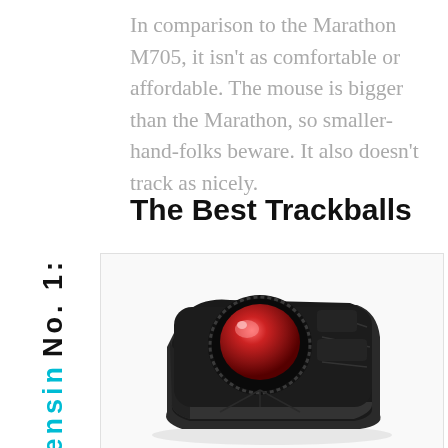In comparison to the Marathon M705, it isn't as comfortable or affordable. The mouse is bigger than the Marathon, so smaller-hand-folks beware. It also doesn't track as nicely.
The Best Trackballs
No. 1: Kensin
[Figure (photo): A black Kensington trackball device with a large red ball on top, photographed from a slightly elevated angle against a white background. The device has a rectangular body with curved edges.]